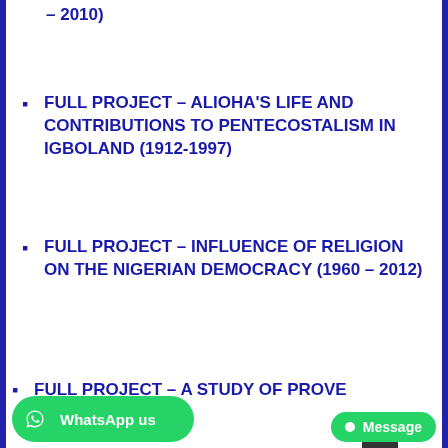– 2010)
FULL PROJECT – ALIOHA'S LIFE AND CONTRIBUTIONS TO PENTECOSTALISM IN IGBOLAND (1912-1997)
FULL PROJECT – INFLUENCE OF RELIGION ON THE NIGERIAN DEMOCRACY (1960 – 2012)
FULL PROJECT – A STUDY OF PROVE...